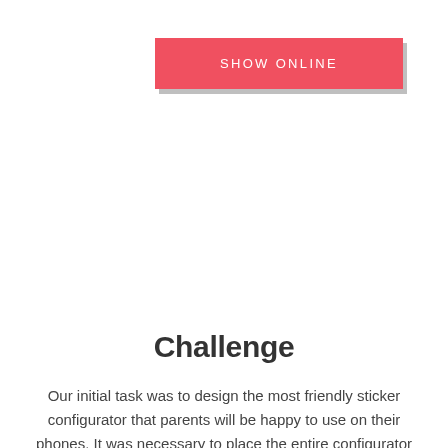[Figure (other): A red/coral button labeled SHOW ONLINE with a dark drop shadow]
Challenge
Our initial task was to design the most friendly sticker configurator that parents will be happy to use on their phones. It was necessary to place the entire configurator in